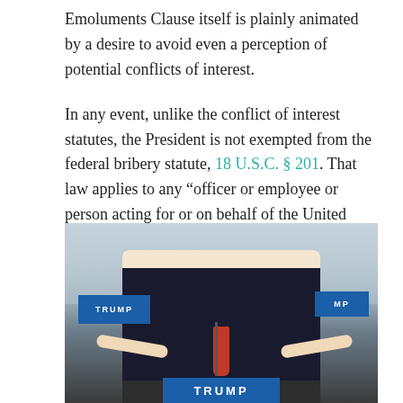Emoluments Clause itself is plainly animated by a desire to avoid even a perception of potential conflicts of interest.

In any event, unlike the conflict of interest statutes, the President is not exempted from the federal bribery statute, 18 U.S.C. § 201. That law applies to any “officer or employee or person acting for or on behalf of the United States,” which certainly includes the President.
[Figure (photo): A man in a dark suit with a red tie speaking at a podium labeled TRUMP, arms spread wide, with a crowd visible in the background and Trump campaign signs visible.]